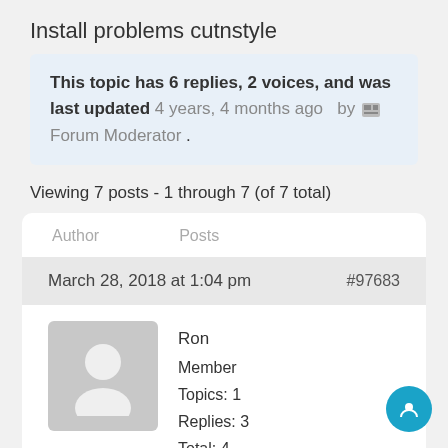Install problems cutnstyle
This topic has 6 replies, 2 voices, and was last updated 4 years, 4 months ago   by  Forum Moderator .
Viewing 7 posts - 1 through 7 (of 7 total)
Author    Posts
March 28, 2018 at 1:04 pm    #97683
Ron
Member
Topics: 1
Replies: 3
Total: 4